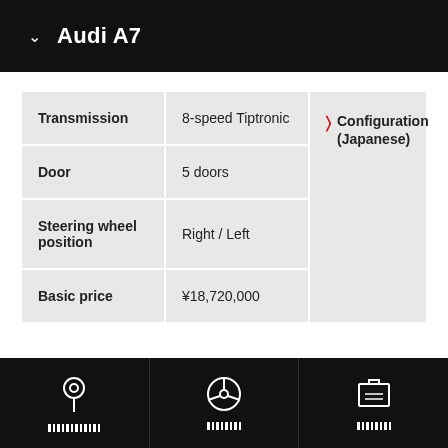Audi A7
|  |  |  |
| --- | --- | --- |
| Transmission | 8-speed Tiptronic | Configuration (Japanese) |
| Door | 5 doors |  |
| Steering wheel position | Right / Left |  |
| Basic price | ¥18,720,000 |  |
Navigation bar with location, steering wheel, and card icons